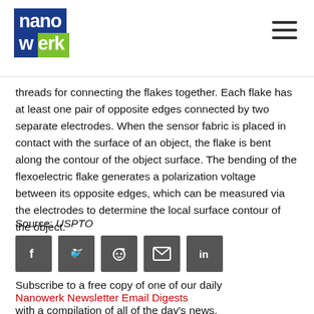nanowerk
threads for connecting the flakes together. Each flake has at least one pair of opposite edges connected by two separate electrodes. When the sensor fabric is placed in contact with the surface of an object, the flake is bent along the contour of the object surface. The bending of the flexoelectric flake generates a polarization voltage between its opposite edges, which can be measured via the electrodes to determine the local surface contour of the object.
Source: USPTO
[Figure (infographic): Social sharing icons: Facebook, Twitter, Reddit, Email, LinkedIn]
Subscribe to a free copy of one of our daily Nanowerk Newsletter Email Digests with a compilation of all of the day's news.